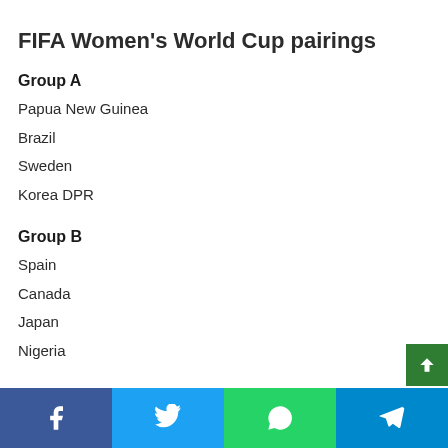FIFA Women's World Cup pairings
Group A
Papua New Guinea
Brazil
Sweden
Korea DPR
Group B
Spain
Canada
Japan
Nigeria